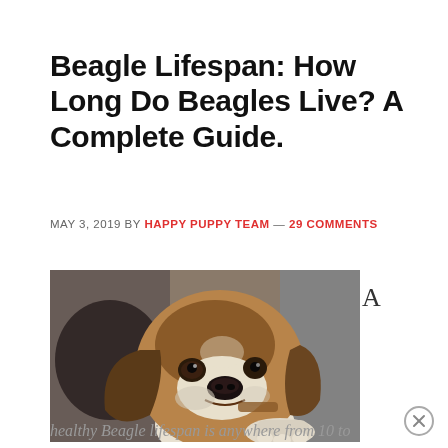Beagle Lifespan: How Long Do Beagles Live? A Complete Guide.
MAY 3, 2019 BY HAPPY PUPPY TEAM — 29 COMMENTS
[Figure (photo): Close-up photo of a beagle dog looking at the camera with floppy ears and brown/white coloring]
healthy Beagle lifespan is anywhere from 10 to